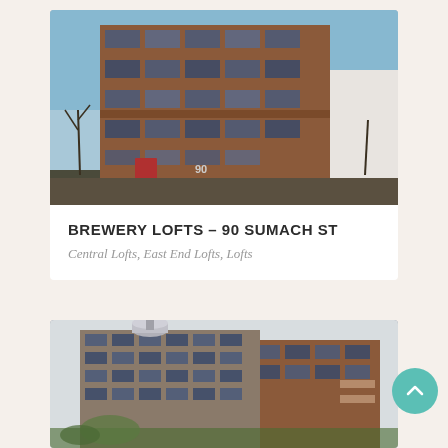[Figure (photo): Exterior photo of Brewery Lofts at 90 Sumach St — a multi-storey red brick industrial-style building with large grid windows, blue sky background, bare trees, and number 90 visible near entrance.]
BREWERY LOFTS – 90 SUMACH ST
Central Lofts, East End Lofts, Lofts
[Figure (photo): Exterior photo of a second loft building — multi-storey industrial style with red brick cladding, large grid windows, balconies, and a cylindrical structure on the roof. Trees visible at bottom.]